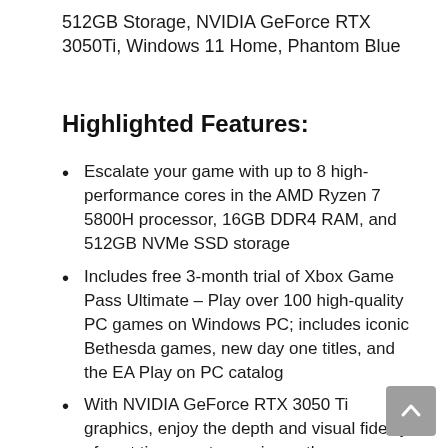512GB Storage, NVIDIA GeForce RTX 3050Ti, Windows 11 Home, Phantom Blue
Highlighted Features:
Escalate your game with up to 8 high-performance cores in the AMD Ryzen 7 5800H processor, 16GB DDR4 RAM, and 512GB NVMe SSD storage
Includes free 3-month trial of Xbox Game Pass Ultimate – Play over 100 high-quality PC games on Windows PC; includes iconic Bethesda games, new day one titles, and the EA Play on PC catalog
With NVIDIA GeForce RTX 3050 Ti graphics, enjoy the depth and visual fidelity of next time, next experience the